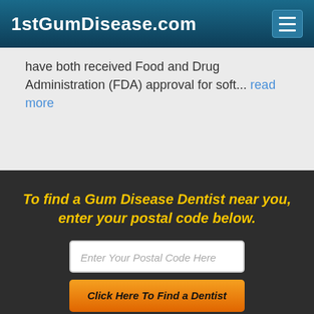1stGumDisease.com
have both received Food and Drug Administration (FDA) approval for soft... read more
To find a Gum Disease Dentist near you, enter your postal code below.
Enter Your Postal Code Here
Click Here To Find a Dentist
© 2022, Internet Dental Alliance, Inc. All Rights Reserved. About Us - About Gum Disease Dentistry - Terms of Service Agreement - Privacy Policy - Accessibility Statement - Doctor Registration